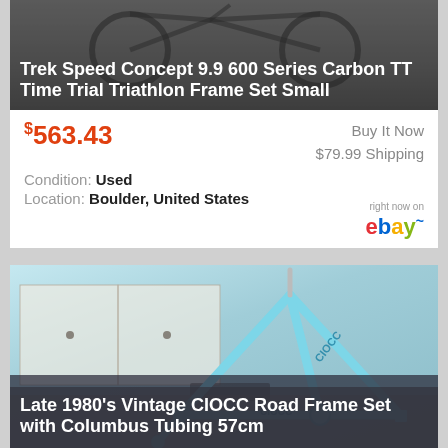[Figure (photo): Trek Speed Concept bicycle frame photo with dark overlay]
Trek Speed Concept 9.9 600 Series Carbon TT Time Trial Triathlon Frame Set Small
$563.43
Buy It Now
$79.99 Shipping
Condition: Used
Location: Boulder, United States
[Figure (logo): eBay logo with 'right now on' text]
[Figure (photo): Late 1980s vintage CIOCC road bicycle frame set in cyan/light blue color]
Late 1980's Vintage CIOCC Road Frame Set with Columbus Tubing 57cm